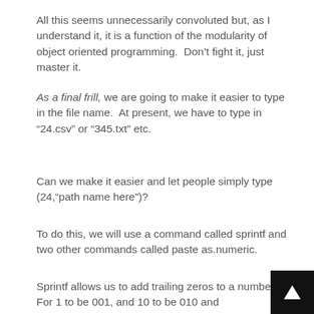All this seems unnecessarily convoluted but, as I understand it, it is a function of the modularity of object oriented programming.  Don’t fight it, just master it.
As a final frill, we are going to make it easier to type in the file name.  At present, we have to type in “24.csv” or “345.txt” etc.
Can we make it easier and let people simply type (24,“path name here”)?
To do this, we will use a command called sprintf and two other commands called paste as.numeric.
Sprintf allows us to add trailing zeros to a number.  For 1 to be 001, and 10 to be 010 and